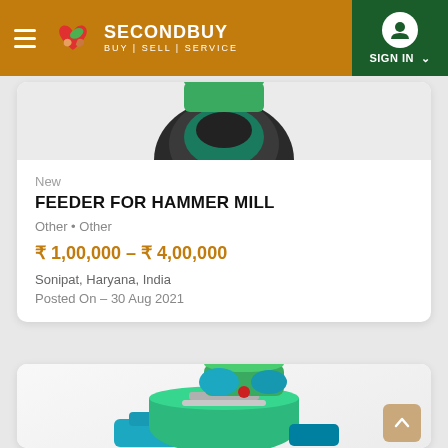SECONDBUY — BUY | SELL | SERVICE — SIGN IN
[Figure (photo): Partial view of a feeder for hammer mill machine (top portion of product image)]
New
FEEDER FOR HAMMER MILL
Other • Other
₹ 1,00,000 – ₹ 4,00,000
Sonipat, Haryana, India
Posted On – 30 Aug 2021
[Figure (photo): 3D rendering of a green and teal hammer mill machine with blue motor, partially visible in second product card]